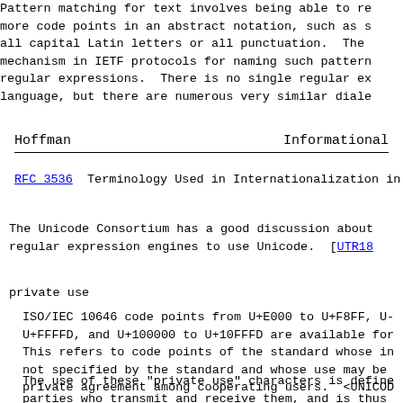Pattern matching for text involves being able to refer to one or more code points in an abstract notation, such as "any letter" or all capital Latin letters or all punctuation. The standard mechanism in IETF protocols for naming such patterns is so-called regular expressions. There is no single regular expression language, but there are numerous very similar dialects.
Hoffman                         Informational
RFC 3536  Terminology Used in Internationalization in the IETF
The Unicode Consortium has a good discussion about how to extend regular expression engines to use Unicode. [UTR18]
private use
ISO/IEC 10646 code points from U+E000 to U+F8FF, U+F0000 to U+FFFFD, and U+100000 to U+10FFFD are available for private use. This refers to code points of the standard whose interpretation is not specified by the standard and whose use may be determined by private agreement among cooperating users. <UNICODE>
The use of these "private use" characters is defined between the parties who transmit and receive them, and is thus not suitable for standardization. (The IETF has a long history of assigning names for things such as "x-" names in MIME types